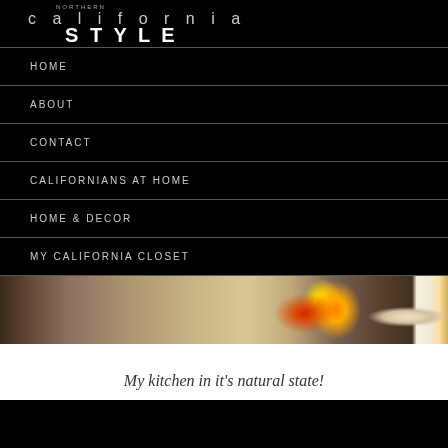NORTHERN california STYLE
HOME
ABOUT
CONTACT
CALIFORNIANS AT HOME
HOME & DECOR
MY CALIFORNIA CLOSET
[Figure (photo): A kitchen countertop with a granite surface, a decorative bowl with colorful fruits (tomatoes, peppers), and other kitchen items on the right side]
My kitchen in it’s natural state!